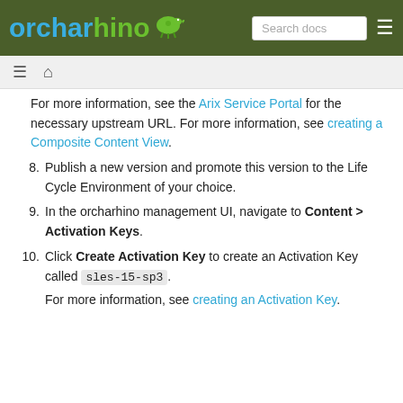orcharhino | Search docs
For more information, see the Arix Service Portal for the necessary upstream URL. For more information, see creating a Composite Content View.
8. Publish a new version and promote this version to the Life Cycle Environment of your choice.
9. In the orcharhino management UI, navigate to Content > Activation Keys.
10. Click Create Activation Key to create an Activation Key called sles-15-sp3.
For more information, see creating an Activation Key.